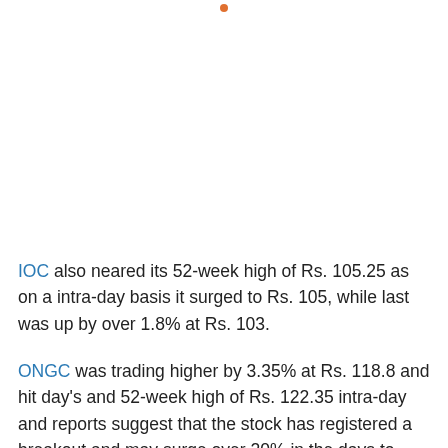IOC also neared its 52-week high of Rs. 105.25 as on a intra-day basis it surged to Rs. 105, while last was up by over 1.8% at Rs. 103.
ONGC was trading higher by 3.35% at Rs. 118.8 and hit day's and 52-week high of Rs. 122.35 intra-day and reports suggest that the stock has registered a breakout and may surge over 20% in the days to come.